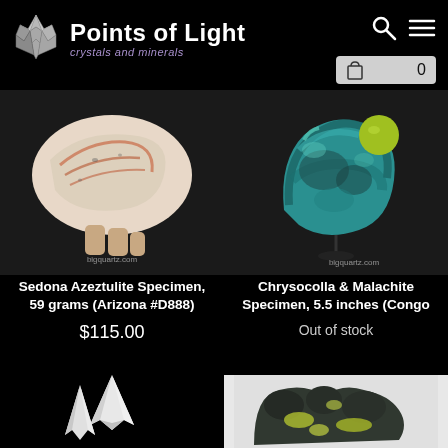Points of Light — crystals and minerals
[Figure (photo): Sedona Azeztulite mineral specimen, pinkish-white with orange veins, held in hand, bigquartz.com watermark]
Sedona Azeztulite Specimen, 59 grams (Arizona #D888)
$115.00
[Figure (photo): Chrysocolla & Malachite mineral specimen, teal/green swirling patterns with yellow-green object, bigquartz.com watermark]
Chrysocolla & Malachite Specimen, 5.5 inches (Congo
Out of stock
[Figure (photo): White pointed crystal specimen on black background, partially visible at bottom left]
[Figure (photo): Dark mineral specimen with yellow/green markings on white background, partially visible at bottom right]